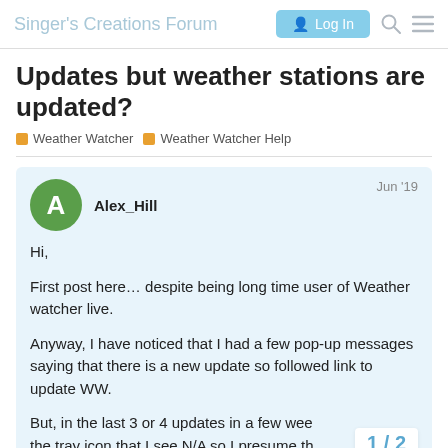Singer's Creations Forum   Log In
Updates but weather stations are updated?
Weather Watcher   Weather Watcher Help
Alex_Hill   Jun '19

Hi,

First post here… despite being long time user of Weather watcher live.

Anyway, I have noticed that I had a few pop-up messages saying that there is a new update so followed link to update WW.

But, in the last 3 or 4 updates in a few wee... the tray icon that I see N/A so I presume th...
1 / 2